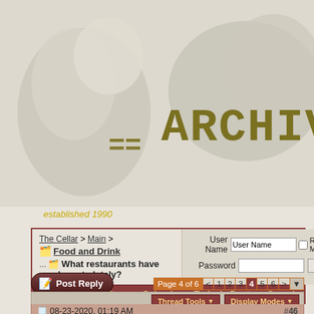[Figure (illustration): Forum banner with penguin/bird imagery, '== ARCHIV' text in olive/gold typewriter font on beige background]
established 1990
| Navigation / Login |
| --- |
| The Cellar > Main > Food and Drink | What restaurants have you been to lately? | User Name [User Name] [ ] Remember Me? Password [ ] [Log in] |
| FAQ | Community ▼ | Calendar | Today's Posts | Search |  |
Food and Drink Essential to sustain life; near the top of the hierarchy of needs
Post Reply | Page 4 of 6 < 1 2 3 4 5 6 > ▼
Thread Tools ▼ | Display Modes ▼
08-23-2020, 01:19 AM | #46
Dude111
An Awesome Dude
I went to the buffet on Thursday 🙂